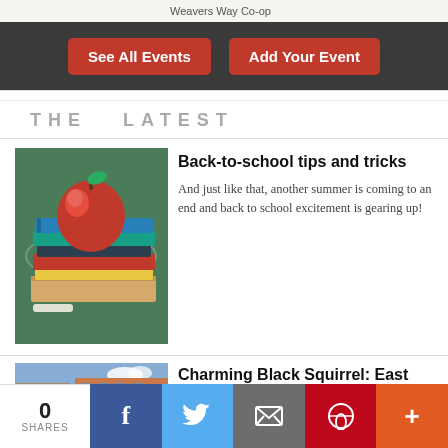Weavers Way Co-op
See All Events
Add Your Event
THE  LATEST
[Figure (photo): Red apple on a stack of colorful books on a chalkboard background]
Back-to-school tips and tricks
And just like that, another summer is coming to an end and back to school excitement is gearing up!
[Figure (photo): Exterior of a building, brick storefront, blue sky]
Charming Black Squirrel: East Falls British-style pub
0 SHARES  Facebook  Twitter  Email  Pinterest  More